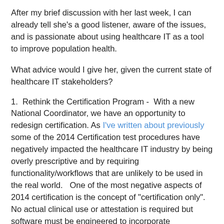After my brief discussion with her last week, I can already tell she's a good listener, aware of the issues, and is passionate about using healthcare IT as a tool to improve population health.
What advice would I give her, given the current state of healthcare IT stakeholders?
1.  Rethink the Certification Program -  With a new National Coordinator, we have an opportunity to redesign certification. As I've written about previously some of the 2014 Certification test procedures have negatively impacted the healthcare IT industry by being overly prescriptive and by requiring functionality/workflows that are unlikely to be used in the real world.   One of the most negative aspects of 2014 certification is the concept of "certification only".   No actual clinical use or attestation is required but software must be engineered to incorporate standards/processes which are not yet mature.   An example is the "transmit" portion of the view/download/transmit patient/family engagement requirements.   There is not yet an ecosystem for patients to "transmit" using CCDA and Direct, yet vendors are required